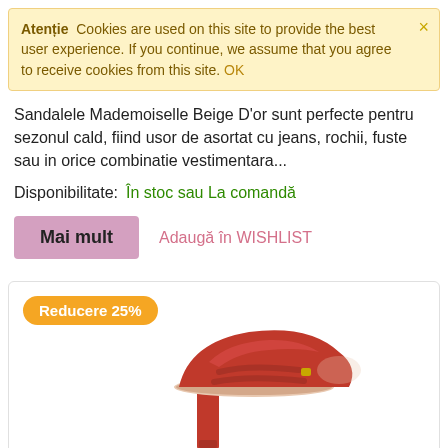Atenție  Cookies are used on this site to provide the best user experience. If you continue, we assume that you agree to receive cookies from this site. OK
Sandalele Mademoiselle Beige D'or sunt perfecte pentru sezonul cald, fiind usor de asortat cu jeans, rochii, fuste sau in orice combinatie vestimentara...
Disponibilitate:    În stoc sau La comandă
Mai mult    Adaugă în WISHLIST
[Figure (photo): Red patent leather women's sandal with block heel and ankle straps, shown at an angle. Has a 'Reducere 25%' (25% discount) badge in orange.]